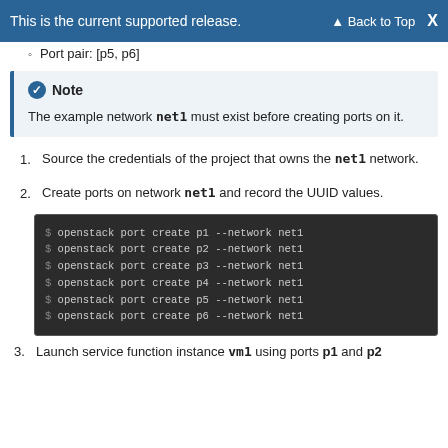This is the current supported release.  Back to Top  X
Port pair: [p5, p6]
Note
The example network net1 must exist before creating ports on it.
1. Source the credentials of the project that owns the net1 network.
2. Create ports on network net1 and record the UUID values.
$ openstack port create p1 --network net1
$ openstack port create p2 --network net1
$ openstack port create p3 --network net1
$ openstack port create p4 --network net1
$ openstack port create p5 --network net1
$ openstack port create p6 --network net1
3. Launch service function instance vm1 using ports p1 and p2...